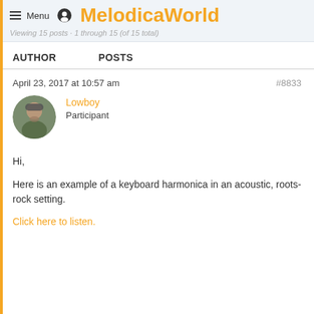MelodicaWorld
Viewing 15 posts - 1 through 15 (of 15 total)
AUTHOR   POSTS
April 23, 2017 at 10:57 am   #8833
Lowboy
Participant
Hi,
Here is an example of a keyboard harmonica in an acoustic, roots-rock setting.
Click here to listen.